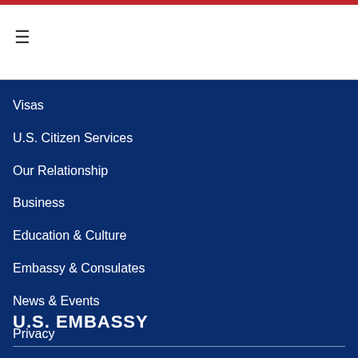☰
Visas
U.S. Citizen Services
Our Relationship
Business
Education & Culture
Embassy & Consulates
News & Events
Privacy
Sitemap
U.S. EMBASSY